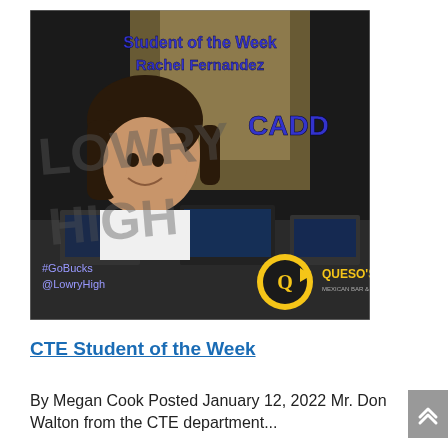[Figure (photo): Student of the Week promotional image showing Rachel Fernandez, a student in the CADD program at Lowry High. Text overlays read 'Student of the Week', 'Rachel Fernandez', 'CADD', 'LOWRY HIGH', '#GoBucks @LowryHigh'. Queso's Mexican Bar & Grill logo in bottom right corner.]
CTE Student of the Week
By Megan Cook Posted January 12, 2022 Mr. Don Walton from the CTE department...